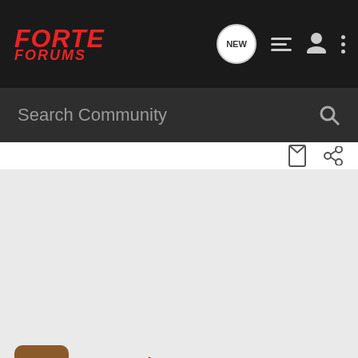FORTE FORUMS
Search Community
Boom_King · Registered
Joined Jan 11, 2010 · 140 Posts
#5 · Feb 26, 2010
I'm in Canada too and although I don't notice any problems so far with the shifting, I called my dealer anyways and they said that it doesn't apply to my VIN#. Same thing with the TSB about